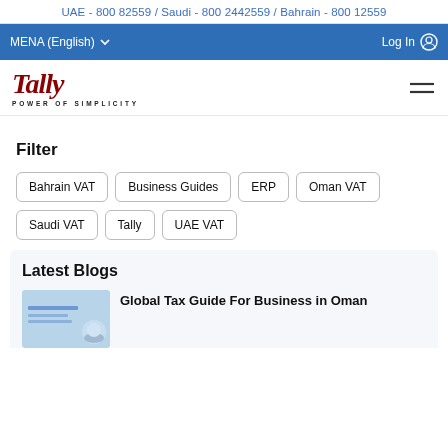UAE - 800 82559 / Saudi - 800 2442559 / Bahrain - 800 12559
MENA (English) ▼    Log In
[Figure (logo): Tally logo with script lettering and tagline POWER OF SIMPLICITY]
Filter
Bahrain VAT
Business Guides
ERP
Oman VAT
Saudi VAT
Tally
UAE VAT
Latest Blogs
Global Tax Guide For Business in Oman